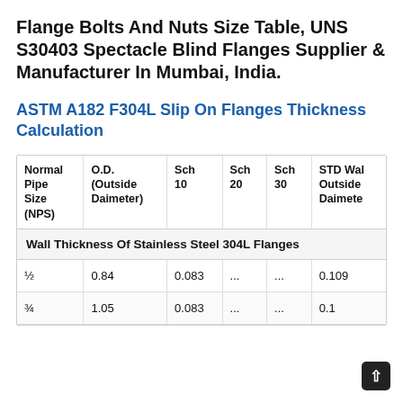Flange Bolts And Nuts Size Table, UNS S30403 Spectacle Blind Flanges Supplier & Manufacturer In Mumbai, India.
ASTM A182 F304L Slip On Flanges Thickness Calculation
| Normal Pipe Size (NPS) | O.D. (Outside Daimeter) | Sch 10 | Sch 20 | Sch 30 | STD Wall Outside Daimete |
| --- | --- | --- | --- | --- | --- |
| ½ | 0.84 | 0.083 | ... | ... | 0.109 |
| ¾ | 1.05 | 0.083 | ... | ... | 0.1 |